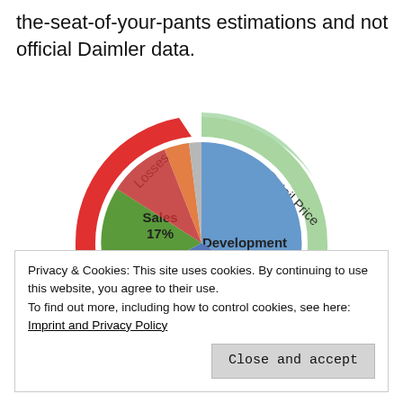the-seat-of-your-pants estimations and not official Daimler data.
[Figure (donut-chart): Daimler cost breakdown]
Privacy & Cookies: This site uses cookies. By continuing to use this website, you agree to their use.
To find out more, including how to control cookies, see here:
Imprint and Privacy Policy
Close and accept